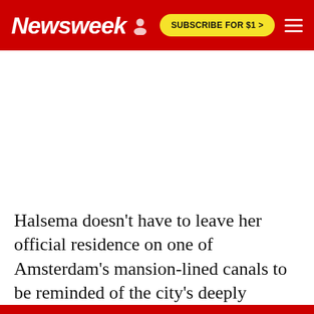Newsweek  SUBSCRIBE FOR $1 >
[Figure (other): Large white advertisement/placeholder area below the Newsweek header with a red bottom section]
Halsema doesn't have to leave her official residence on one of Amsterdam's mansion-lined canals to be reminded of the city's deeply